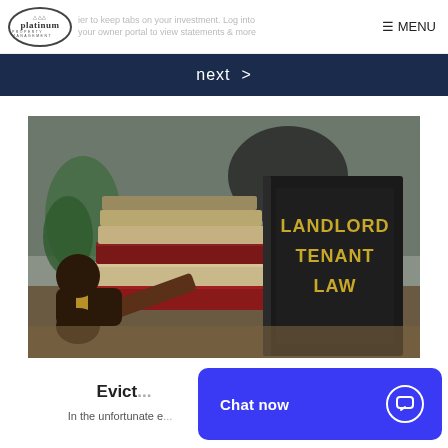easier to keep tabs on your investment. Log into your owner portal to view statements & more
≡ MENU
next >
[Figure (photo): A stack of books with a prominent black book titled 'LANDLORD TENANT LAW' in gold letters, alongside a wooden judge's gavel on a desk. Green plant in background.]
Evict...
In the unfortunate e...
Chat now